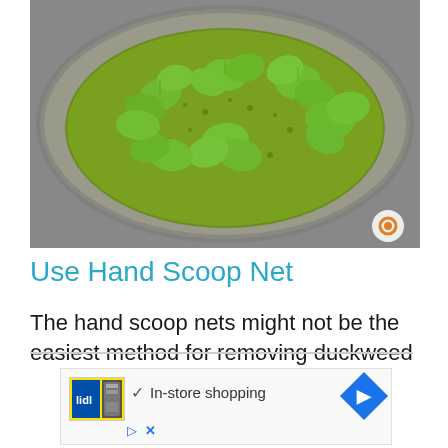[Figure (photo): A stone or concrete circular basin/pot viewed from above, filled with water covered in duckweed (small green floating plants) and larger water lettuce or similar aquatic plants with rounded leaves arranged in rosette patterns. The basin has a rough, aged stone edge. A small circular icon appears in the lower right of the photo.]
Use Hand Scoop Net
The hand scoop nets might not be the easiest method for removing duckweed
[Figure (screenshot): An advertisement overlay showing a Lidl store ad with a logo on the left, a checkmark followed by 'In-store shopping' text, and a blue diamond-shaped arrow icon on the right. Below are play and close (X) icons in blue.]